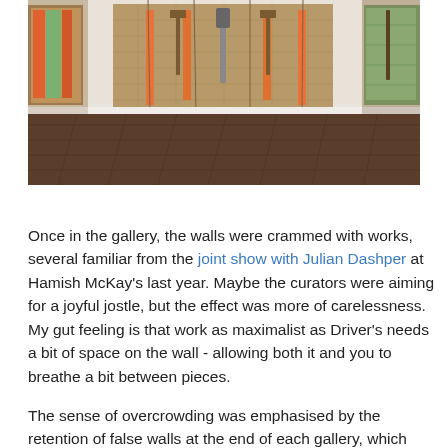[Figure (photo): Interior of an art gallery showing large burlap/hessian textile works hung on white walls. Rakes and garden tools are attached to the central piece. The floor is wooden parquet. Works are hung on both side walls and the back wall.]
Once in the gallery, the walls were crammed with works, several familiar from the joint show with Julian Dashper at Hamish McKay's last year. Maybe the curators were aiming for a joyful jostle, but the effect was more of carelessness. My gut feeling is that work as maximalist as Driver's needs a bit of space on the wall - allowing both it and you to breathe a bit between pieces.
The sense of overcrowding was emphasised by the retention of false walls at the end of each gallery, which blocked you